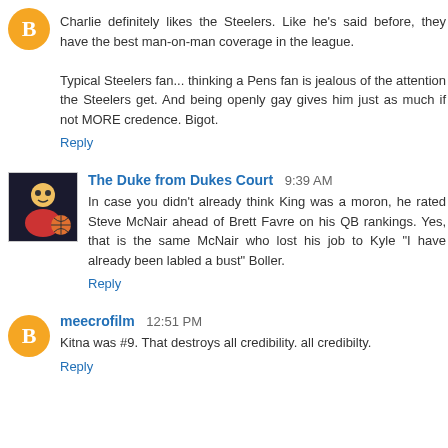Charlie definitely likes the Steelers. Like he's said before, they have the best man-on-man coverage in the league.

Typical Steelers fan... thinking a Pens fan is jealous of the attention the Steelers get. And being openly gay gives him just as much if not MORE credence. Bigot.
Reply
The Duke from Dukes Court 9:39 AM
In case you didn't already think King was a moron, he rated Steve McNair ahead of Brett Favre on his QB rankings. Yes, that is the same McNair who lost his job to Kyle "I have already been labled a bust" Boller.
Reply
meecrofilm 12:51 PM
Kitna was #9. That destroys all credibility. all credibilty.
Reply